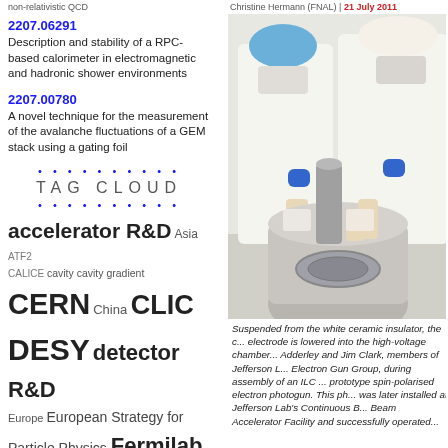non-relativistic QCD
Christine Hermann (FNAL) | 21 July 2011
2207.06291
Description and stability of a RPC-based calorimeter in electromagnetic and hadronic shower environments
2207.00780
A novel technique for the measurement of the avalanche fluctuations of a GEM stack using a gating foil
TAG CLOUD
accelerator R&D Asia ATF2 CALICE cavity cavity gradient CERN China CLIC DESY detector R&D Europe European Strategy for Particle Physics Fermilab Higgs ICFA ILC ILCSC ILC site ILD Japan KEK LHC MEXT outreach SCRF SLAC TDR Technical Design Report United States
[Figure (photo): Two scientists in white lab coats, masks, and hairnets lowering a high-voltage electrode into a chamber — assembly of an ILC prototype spin-polarised electron photogun at Jefferson Lab.]
Suspended from the white ceramic insulator, the c... electrode is lowered into the high-voltage chamber... Adderley and Jim Clark, members of Jefferson L... Electron Gun Group, during assembly of an ILC ... prototype spin-polarised electron photogun. This ph... was later installed at Jefferson Lab's Continuous B... Beam Accelerator Facility and successfully operated...